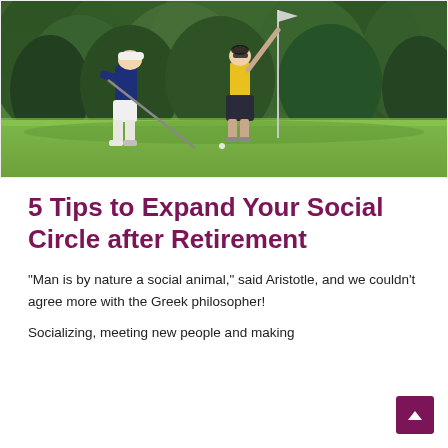[Figure (photo): Two golfers on a putting green. One person in a dark navy shirt and white shorts is putting, while another person in a yellow shirt and dark skirt is holding the flag pin. Lush green trees in the background.]
5 Tips to Expand Your Social Circle after Retirement
“Man is by nature a social animal,” said Aristotle, and we couldn’t agree more with the Greek philosopher!
Socializing, meeting new people and making